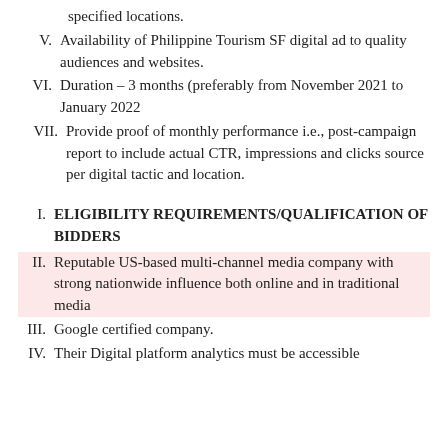specified locations.
V. Availability of Philippine Tourism SF digital ad to quality audiences and websites.
VI. Duration – 3 months (preferably from November 2021 to January 2022
VII. Provide proof of monthly performance i.e., post-campaign report to include actual CTR, impressions and clicks source per digital tactic and location.
I. ELIGIBILITY REQUIREMENTS/QUALIFICATION OF BIDDERS
II. Reputable US-based multi-channel media company with strong nationwide influence both online and in traditional media
III. Google certified company.
IV. Their Digital platform analytics must be accessible